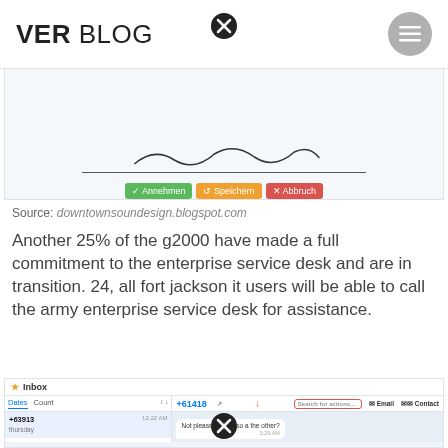VER BLOG
[Figure (screenshot): Screenshot of a signature/approval dialog with Annehmen, Speichern, Abbruch buttons]
Source: downtownsoundesign.blogspot.com
Another 25% of the g2000 have made a full commitment to the enterprise service desk and are in transition. 24, all fort jackson it users will be able to call the army enterprise service desk for assistance.
[Figure (screenshot): Screenshot of an Inbox messaging interface showing conversation with +61418 contact and chat bubbles]